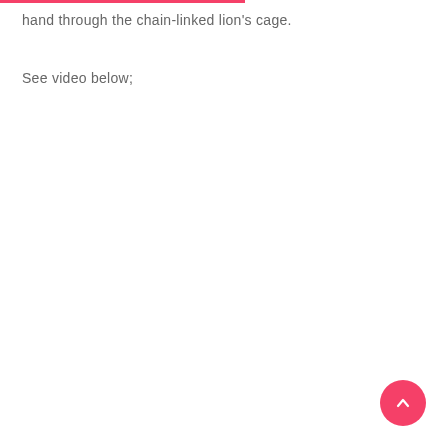hand through the chain-linked lion's cage.
See video below;